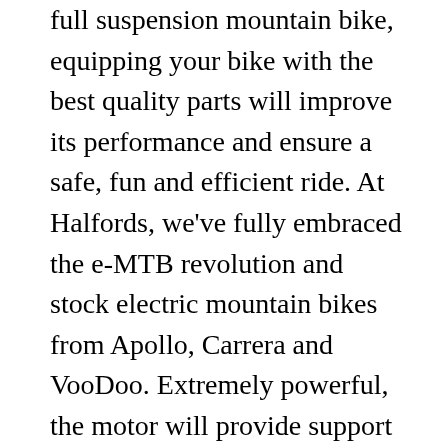full suspension mountain bike, equipping your bike with the best quality parts will improve its performance and ensure a safe, fun and efficient ride. At Halfords, we've fully embraced the e-MTB revolution and stock electric mountain bikes from Apollo, Carrera and VooDoo. Extremely powerful, the motor will provide support for cargo bikes and loads that weigh up to an incredible 250kg! At Halfords, we stock a range of adventure bikes and gravel bikes for all budgets and skill levels. Sign up to keep up-to-date on everything happening in the world of Halfords. From £100 FROM. Looking to save a little extra on that new Halfords bike, dashcam, or festival tent? E-bike